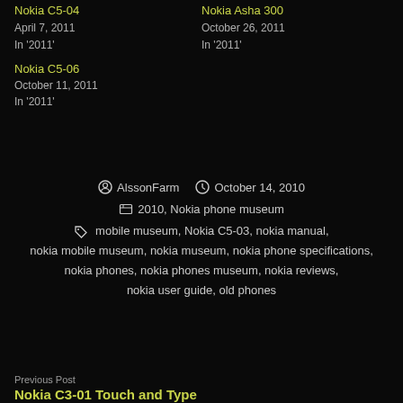Nokia C5-04
April 7, 2011
In '2011'
Nokia Asha 300
October 26, 2011
In '2011'
Nokia C5-06
October 11, 2011
In '2011'
AlssonFarm  October 14, 2010
2010, Nokia phone museum
mobile museum, Nokia C5-03, nokia manual, nokia mobile museum, nokia museum, nokia phone specifications, nokia phones, nokia phones museum, nokia reviews, nokia user guide, old phones
Previous Post
Nokia C3-01 Touch and Type